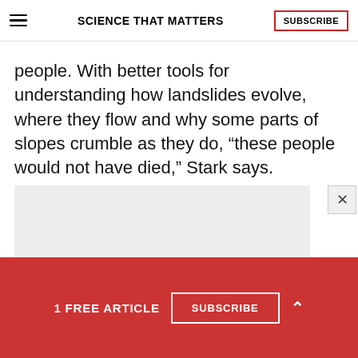SCIENCE THAT MATTERS
people. With better tools for understanding how landslides evolve, where they flow and why some parts of slopes crumble as they do, “these people would not have died,” Stark says.
[Figure (other): Gray advertisement placeholder box]
1 FREE ARTICLE SUBSCRIBE